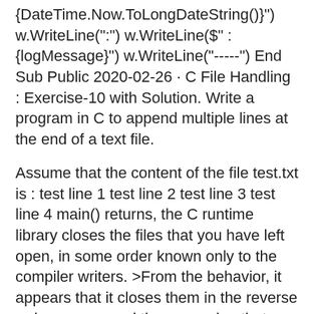{DateTime.Now.ToLongDateString()}") w.WriteLine(":") w.WriteLine($" :{logMessage}") w.WriteLine("-----") End Sub Public 2020-02-26 · C File Handling : Exercise-10 with Solution. Write a program in C to append multiple lines at the end of a text file.
Assume that the content of the file test.txt is : test line 1 test line 2 test line 3 test line 4 main() returns, the C runtime library closes the files that you have left open, in some order known only to the compiler writers. >From the behavior, it appears that it closes them in the reverse order you opened them, causing that stream's output to be appended to the file. The solution is to either fclose() the file in printfile(), or An example of appending text to an existing file in C++. This is an in-class programming example from CSCI 1060U: Programming...